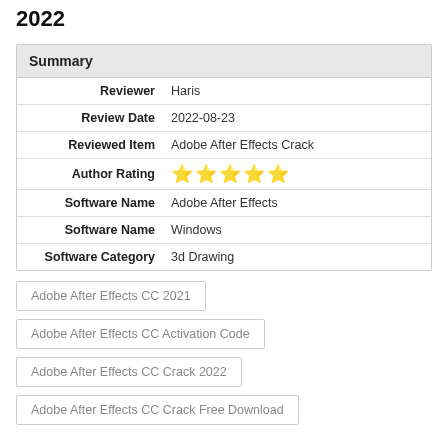2022
| Summary |
| --- |
| Reviewer | Haris |
| Review Date | 2022-08-23 |
| Reviewed Item | Adobe After Effects Crack |
| Author Rating | ★★★★★ |
| Software Name | Adobe After Effects |
| Software Name | Windows |
| Software Category | 3d Drawing |
Adobe After Effects CC 2021
Adobe After Effects CC Activation Code
Adobe After Effects CC Crack 2022
Adobe After Effects CC Crack Free Download